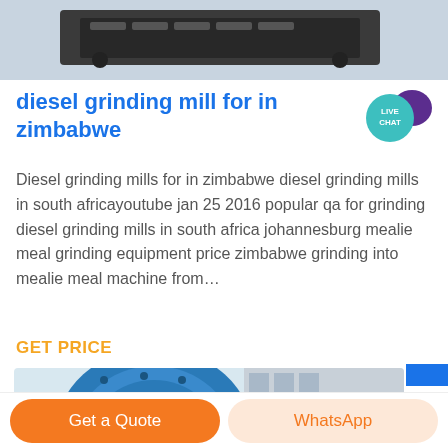[Figure (photo): Top portion of industrial grinding mill machine, partially cropped, shown against light background]
diesel grinding mill for in zimbabwe
[Figure (illustration): Live Chat speech bubble badge icon in teal/purple]
Diesel grinding mills for in zimbabwe diesel grinding mills in south africayoutube jan 25 2016 popular qa for grinding diesel grinding mills in south africa johannesburg mealie meal grinding equipment price zimbabwe grinding into mealie meal machine from…
GET PRICE
[Figure (photo): Large blue industrial ball mill machine photographed outdoors with building in background]
Get a Quote
WhatsApp